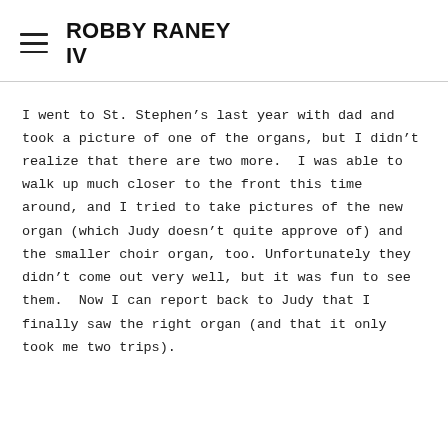ROBBY RANEY IV
I went to St. Stephen’s last year with dad and took a picture of one of the organs, but I didn’t realize that there are two more.  I was able to walk up much closer to the front this time around, and I tried to take pictures of the new organ (which Judy doesn’t quite approve of) and the smaller choir organ, too.  Unfortunately they didn’t come out very well, but it was fun to see them.  Now I can report back to Judy that I finally saw the right organ (and that it only took me two trips).